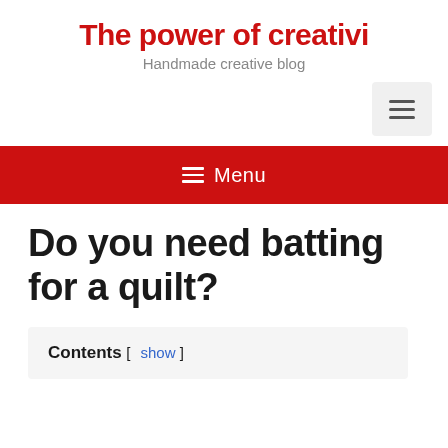The power of creativi…
Handmade creative blog
[Figure (other): Hamburger menu button (three horizontal lines) on light grey background, positioned top right]
[Figure (other): Red navigation bar with hamburger icon and 'Menu' text in white]
Do you need batting for a quilt?
Contents [ show ]